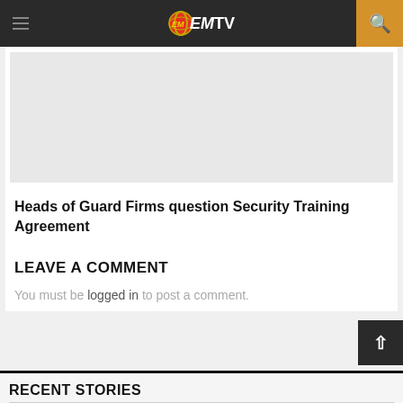EMTV
[Figure (photo): Gray placeholder image for article thumbnail]
Heads of Guard Firms question Security Training Agreement
LEAVE A COMMENT
You must be logged in to post a comment.
RECENT STORIES